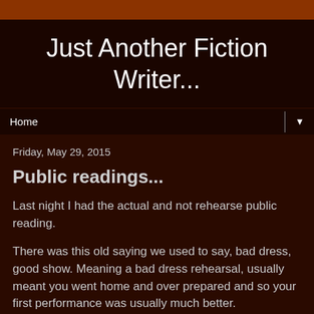Just Another Fiction Writer...
Home
Friday, May 29, 2015
Public readings...
Last night I had the actual and not rehearse public reading.
There was this old saying we used to say, bad dress, good show.  Meaning a bad dress rehearsal, usually meant you went home and over prepared and so your first performance was usually much better.
The problem is, I had a great dress...